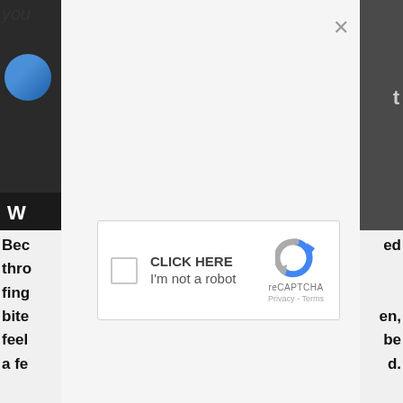you
[Figure (screenshot): A webpage modal overlay showing a reCAPTCHA widget with checkbox labeled 'CLICK HERE / I'm not a robot', a close (×) button, and partial background content including a user avatar and text stubs.]
CLICK HERE
I'm not a robot
reCAPTCHA
Privacy - Terms
W
Bec
thro
fing
bite
feel
a fe
ed
en,
be
d.